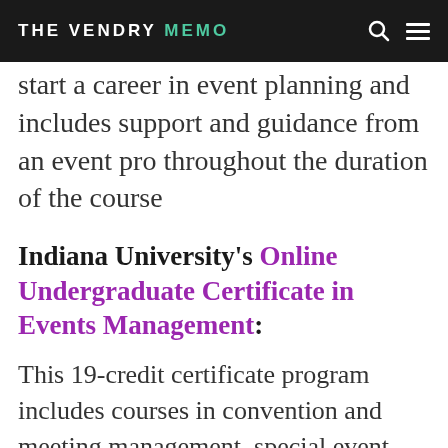THE VENDRY MEMO
start a career in event planning and includes support and guidance from an event pro throughout the duration of the course
Indiana University's Online Undergraduate Certificate in Events Management:
This 19-credit certificate program includes courses in convention and meeting management, special event management,